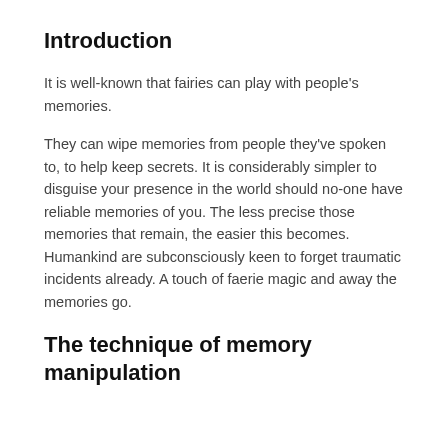Introduction
It is well-known that fairies can play with people's memories.
They can wipe memories from people they've spoken to, to help keep secrets. It is considerably simpler to disguise your presence in the world should no-one have reliable memories of you. The less precise those memories that remain, the easier this becomes. Humankind are subconsciously keen to forget traumatic incidents already. A touch of faerie magic and away the memories go.
The technique of memory manipulation